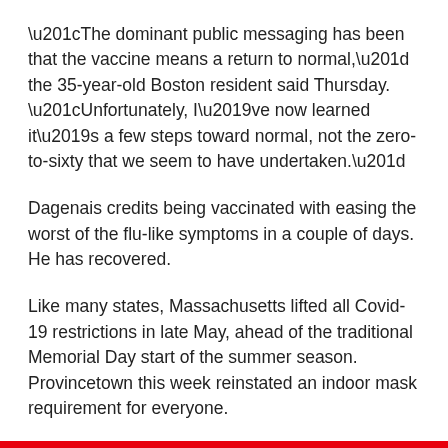“The dominant public messaging has been that the vaccine means a return to normal,” the 35-year-old Boston resident said Thursday. “Unfortunately, I’ve now learned it’s a few steps toward normal, not the zero-to-sixty that we seem to have undertaken.”
Dagenais credits being vaccinated with easing the worst of the flu-like symptoms in a couple of days. He has recovered.
Like many states, Massachusetts lifted all Covid-19 restrictions in late May, ahead of the traditional Memorial Day start of the summer season. Provincetown this week reinstated an indoor mask requirement for everyone.
Leaked internal documents on breakthrough infections and the Delta variant suggest the CDC may be